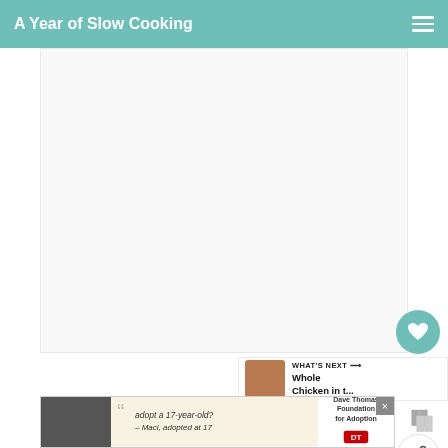A Year of Slow Cooking
[Figure (photo): Large white/blank image area, the main content image placeholder for a recipe post]
[Figure (illustration): Sidebar icons: heart (like) button in teal, count of 2, pause icon, share icon]
WHAT'S NEXT → Whole Chicken in t...
The Directions.
[Figure (infographic): Advertisement banner: adopt a 17-year-old? – Maci, adopted at 17 with Dave Thomas Foundation for Adoption logo and close button]